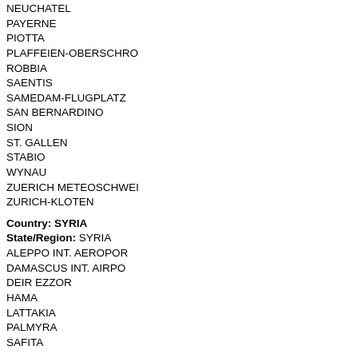NEUCHATEL
PAYERNE
PIOTTA
PLAFFEIEN-OBERSCHRO
ROBBIA
SAENTIS
SAMEDAM-FLUGPLATZ
SAN BERNARDINO
SION
ST. GALLEN
STABIO
WYNAU
ZUERICH METEOSCHWEI
ZURICH-KLOTEN
Country: SYRIA
State/Region: SYRIA
ALEPPO INT. AEROPOR
DAMASCUS INT. AIRPO
DEIR EZZOR
HAMA
LATTAKIA
PALMYRA
SAFITA
Country: TAIWAN
State/Region: TAIWAN
CHIANG KAI SHEK
CHIAYI
CHILUNG
CHINMEM/SHATOU(AFB)
DONGSHA DAO
HENGCHUN